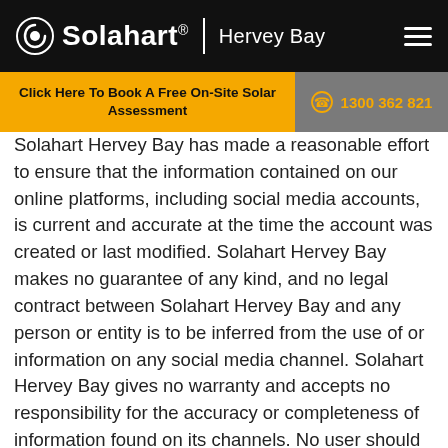Solahart | Hervey Bay
Click Here To Book A Free On-Site Solar Assessment
1300 362 821
Solahart Hervey Bay has made a reasonable effort to ensure that the information contained on our online platforms, including social media accounts, is current and accurate at the time the account was created or last modified. Solahart Hervey Bay makes no guarantee of any kind, and no legal contract between Solahart Hervey Bay and any person or entity is to be inferred from the use of or information on any social media channel. Solahart Hervey Bay gives no warranty and accepts no responsibility for the accuracy or completeness of information found on its channels. No user should rely on the information, but instead should check for confirmation with the originating or authorising body.